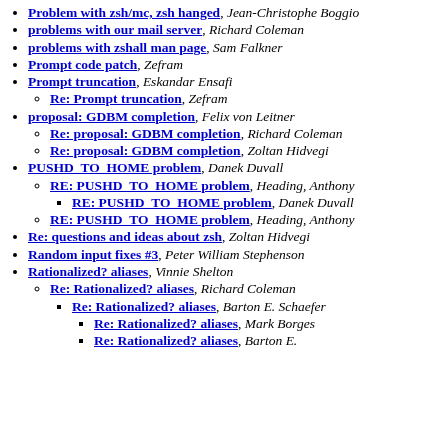Problem with zsh/mc, zsh hanged, Jean-Christophe Boggio
problems with our mail server, Richard Coleman
problems with zshall man page, Sam Falkner
Prompt code patch, Zefram
Prompt truncation, Eskandar Ensafi
Re: Prompt truncation, Zefram
proposal: GDBM completion, Felix von Leitner
Re: proposal: GDBM completion, Richard Coleman
Re: proposal: GDBM completion, Zoltan Hidvegi
PUSHD_TO_HOME problem, Danek Duvall
RE: PUSHD_TO_HOME problem, Heading, Anthony
RE: PUSHD_TO_HOME problem, Danek Duvall
RE: PUSHD_TO_HOME problem, Heading, Anthony
Re: questions and ideas about zsh, Zoltan Hidvegi
Random input fixes #3, Peter William Stephenson
Rationalized? aliases, Vinnie Shelton
Re: Rationalized? aliases, Richard Coleman
Re: Rationalized? aliases, Barton E. Schaefer
Re: Rationalized? aliases, Mark Borges
Re: Rationalized? aliases, Barton E. Schaefer